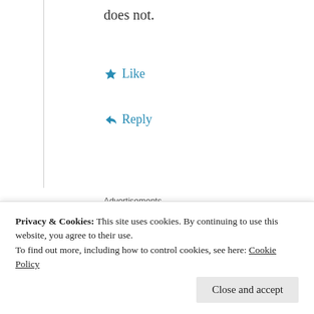does not.
★ Like
↳ Reply
Advertisements
[Figure (illustration): WordPress hosting advertisement banner showing a smiling woman holding an OPEN sign on the left photo side, and a dark navy right panel with a P logo and text: WORDPRESS HOSTING THAT MEANS BUSINESS.]
Privacy & Cookies: This site uses cookies. By continuing to use this website, you agree to their use.
To find out more, including how to control cookies, see here: Cookie Policy
Close and accept